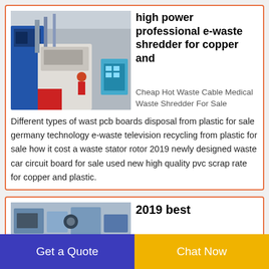[Figure (photo): Industrial factory interior showing blue and white e-waste shredding equipment with workers in background]
high power professional e-waste shredder for copper and
Cheap Hot Waste Cable Medical Waste Shredder For Sale Different types of wast pcb boards disposal from plastic for sale germany technology e-waste television recycling from plastic for sale how it cost a waste stator rotor 2019 newly designed waste car circuit board for sale used new high quality pvc scrap rate for copper and plastic.
[Figure (photo): Industrial machinery and equipment inside a factory]
2019 best